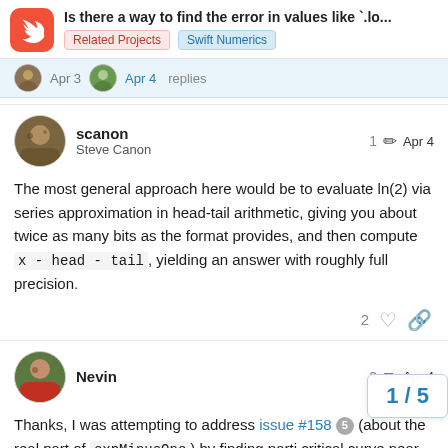Is there a way to find the error in values like `.lo... — Related Projects · Swift Numerics
Apr 3   Apr 4   replies
scanon   1  Apr 4
Steve Canon
The most general approach here would be to evaluate ln(2) via series approximation in head-tail arithmetic, giving you about twice as many bits as the format provides, and then compute x - head - tail, yielding an answer with roughly full precision.
2  ♡  🔗
Nevin   2  Apr 4
Thanks, I was attempting to address issue #158  5  (about the real part of expMinusOne) by finding parti critical curve near which we can evaluate t
1 / 5